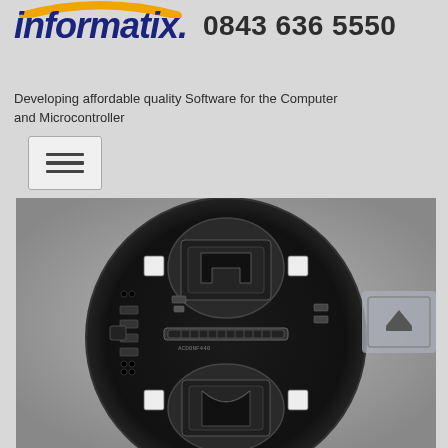[Figure (logo): Informatix logo with orange arc above italic dark blue text 'informatix.' and phone number '0843 636 5550']
Developing affordable quality Software for the Computer and Microcontroller
[Figure (other): Hamburger menu navigation button with three horizontal lines]
[Figure (photo): Black and white photograph of a circular PCB (printed circuit board) with electronic components including two coin cell battery holders, SMD components, and a transistor/IC]